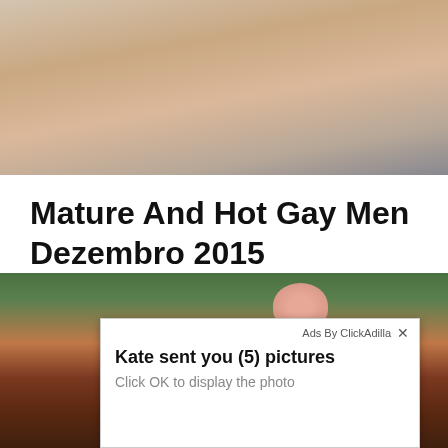[Figure (photo): Close-up photo of skin/arm area, cropped at top of page]
Mature And Hot Gay Men Dezembro 2015
Referrer13 srbnasrwna13 -- -- 13 sscreensrws, i am currently away for a week or two staying with.
[Figure (photo): Photo of brown leather couch with green foliage visible in background, with an advertisement overlay showing 'Ads By ClickAdilla' and message 'Kate sent you (5) pictures - Click OK to display the photo']